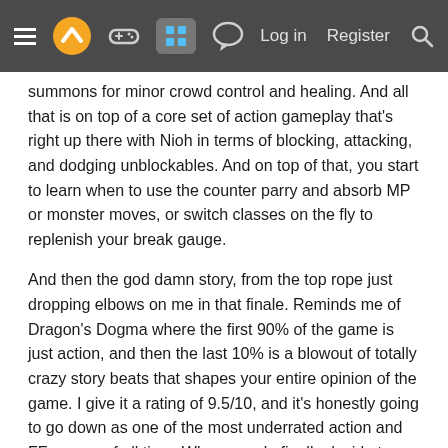Navigation bar with hamburger menu, logo, controller icon, grid icon (active), chat icon, Log in, Register, Search
summons for minor crowd control and healing. And all that is on top of a core set of action gameplay that's right up there with Nioh in terms of blocking, attacking, and dodging unblockables. And on top of that, you start to learn when to use the counter parry and absorb MP or monster moves, or switch classes on the fly to replenish your break gauge.
And then the god damn story, from the top rope just dropping elbows on me in that finale. Reminds me of Dragon's Dogma where the first 90% of the game is just action, and then the last 10% is a blowout of totally crazy story beats that shapes your entire opinion of the game. I give it a rating of 9.5/10, and it's honestly going to go down as one of the most underrated action and FF games of all time. When people finally decide to start playing this thing, they're going to be shocked if they make it far enough to master the advanced moves and see the story play out. Absolutely shocked.
Now it looks like I can play a large post-game on Chaos